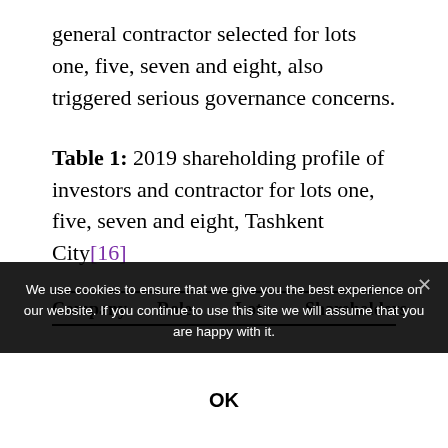general contractor selected for lots one, five, seven and eight, also triggered serious governance concerns.
Table 1: 2019 shareholding profile of investors and contractor for lots one, five, seven and eight, Tashkent City[16]
| Company | Role | Lot | Shareholders |
| --- | --- | --- | --- |
We use cookies to ensure that we give you the best experience on our website. If you continue to use this site we will assume that you are happy with it.